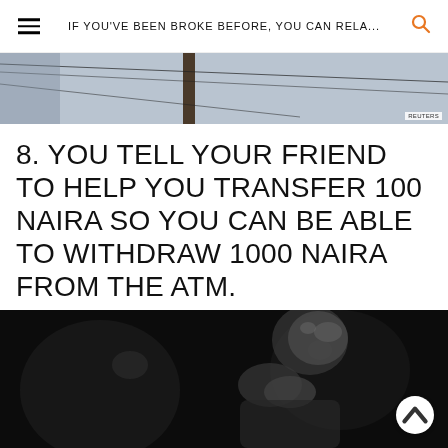IF YOU'VE BEEN BROKE BEFORE, YOU CAN RELA...
[Figure (photo): Partial photo at top, showing a utility pole against a grey sky with wires, monochrome tones. Reuters watermark visible in bottom right corner.]
8. YOU TELL YOUR FRIEND TO HELP YOU TRANSFER 100 NAIRA SO YOU CAN BE ABLE TO WITHDRAW 1000 NAIRA FROM THE ATM.
[Figure (photo): Black and white photograph of a man with hands clasped together near his face, looking upward, appearing to be a performer or public figure.]